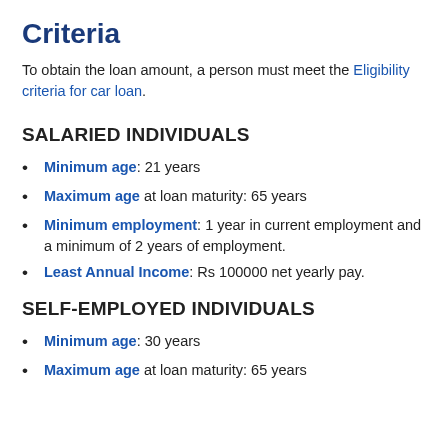Criteria
To obtain the loan amount, a person must meet the Eligibility criteria for car loan.
SALARIED INDIVIDUALS
Minimum age: 21 years
Maximum age at loan maturity: 65 years
Minimum employment: 1 year in current employment and a minimum of 2 years of employment.
Least Annual Income: Rs 100000 net yearly pay.
SELF-EMPLOYED INDIVIDUALS
Minimum age: 30 years
Maximum age at loan maturity: 65 years